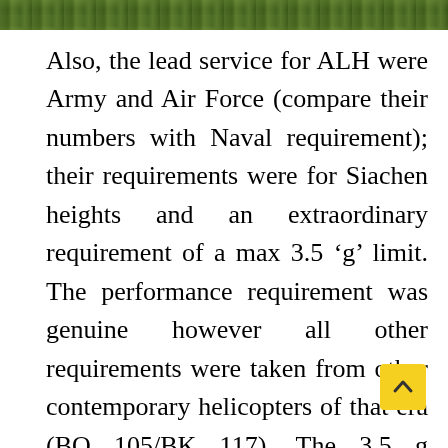[Figure (photo): Green grass or field photograph strip at the top of the page]
Also, the lead service for ALH were Army and Air Force (compare their numbers with Naval requirement); their requirements were for Siachen heights and an extraordinary requirement of a max 3.5 ‘g’ limit. The performance requirement was genuine however all other requirements were taken from other contemporary helicopters of that era (BO 105/BK 117). The 3.5 g requirement and battlefield survivability for controls were the major factors affecting the design of the rotor and the rotor head. To enable ALH to make such high ‘g’ manoeuvres the rotor had…